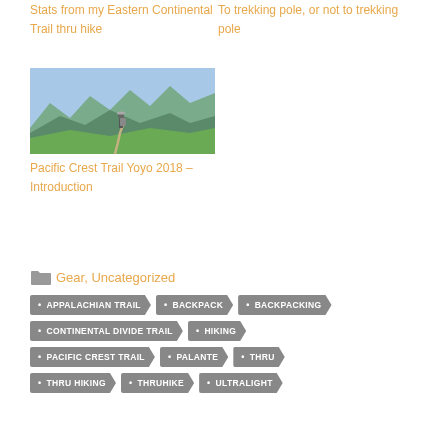Stats from my Eastern Continental Trail thru hike
To trekking pole, or not to trekking pole
[Figure (photo): A hiker walking along a mountain trail with panoramic views of green mountain ridges and blue sky in the background]
Pacific Crest Trail Yoyo 2018 – Introduction
Gear, Uncategorized
APPALACHIAN TRAIL
BACKPACK
BACKPACKING
CONTINENTAL DIVIDE TRAIL
HIKING
PACIFIC CREST TRAIL
PALANTE
THRU
THRU HIKING
THRUHIKE
ULTRALIGHT